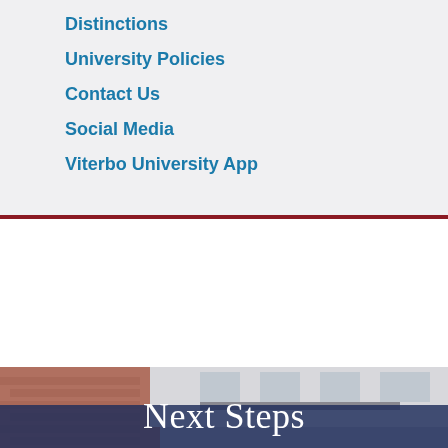Distinctions
University Policies
Contact Us
Social Media
Viterbo University App
[Figure (photo): Exterior photo of Viterbo University building with brick facade, partially visible, overlaid with a dark navy blue semi-transparent banner at the bottom.]
Next Steps